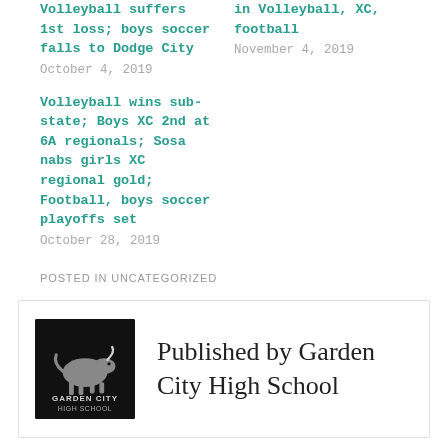Volleyball suffers 1st loss; boys soccer falls to Dodge City
October 4, 2019
in Volleyball, XC, football
November 4, 2019
Volleyball wins sub-state; Boys XC 2nd at 6A regionals; Sosa nabs girls XC regional gold; Football, boys soccer playoffs set
October 28, 2019
POSTED IN UNCATEGORIZED
[Figure (logo): Garden City High School logo — black background with a running buffalo and school name text]
Published by Garden City High School